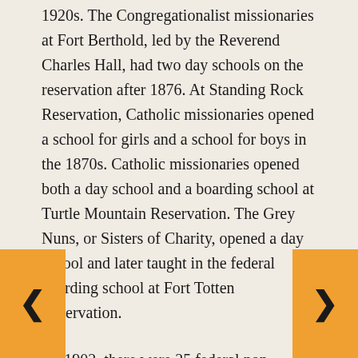1920s. The Congregationalist missionaries at Fort Berthold, led by the Reverend Charles Hall, had two day schools on the reservation after 1876. At Standing Rock Reservation, Catholic missionaries opened a school for girls and a school for boys in the 1870s. Catholic missionaries opened both a day school and a boarding school at Turtle Mountain Reservation. The Grey Nuns, or Sisters of Charity, opened a day school and later taught in the federal boarding school at Fort Totten Reservation.
By 1902, there were 25 federal non-reservation Indian Boarding Schools in the United States including the Wahpeton Indian School (today called Circle of Nations School). Most boarding